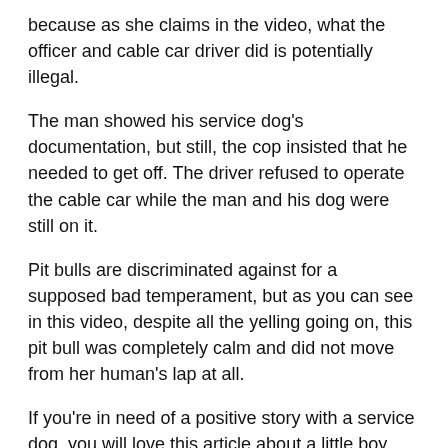because as she claims in the video, what the officer and cable car driver did is potentially illegal.
The man showed his service dog's documentation, but still, the cop insisted that he needed to get off. The driver refused to operate the cable car while the man and his dog were still on it.
Pit bulls are discriminated against for a supposed bad temperament, but as you can see in this video, despite all the yelling going on, this pit bull was completely calm and did not move from her human's lap at all.
If you're in need of a positive story with a service dog, you will love this article about a little boy who saved his pennies to get a service dog and then had the cutest first meeting!